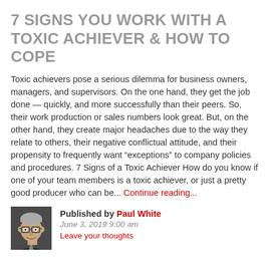7 SIGNS YOU WORK WITH A TOXIC ACHIEVER & HOW TO COPE
Toxic achievers pose a serious dilemma for business owners, managers, and supervisors. On the one hand, they get the job done — quickly, and more successfully than their peers. So, their work production or sales numbers look great. But, on the other hand, they create major headaches due to the way they relate to others, their negative conflictual attitude, and their propensity to frequently want "exceptions" to company policies and procedures. 7 Signs of a Toxic Achiever How do you know if one of your team members is a toxic achiever, or just a pretty good producer who can be... Continue reading...
[Figure (photo): Headshot photo of Paul White, a man with glasses and gray hair wearing a suit]
Published by Paul White
June 3, 2019 9:00 am
Leave your thoughts